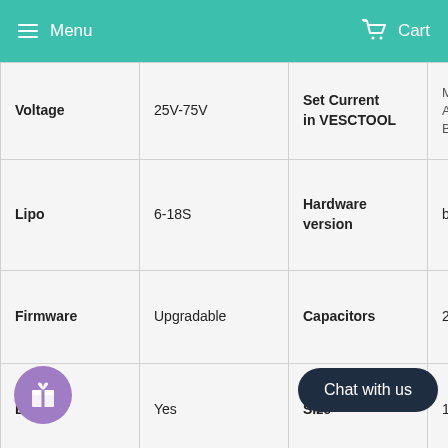Menu   Cart
| Voltage | 25V-75V | Set Current in VESCTOOL | Motor Cu... Absolute... Battery C... |
| Lipo | 6-18S | Hardware version | based on |
| Firmware | Upgradable | Capacitors | 24pcs |
| BEC | Yes | Size | 148.5*84 |
| Application | electric skateboard, fighting robot, e-bike, electric... underwater ROV, etc |  |  |